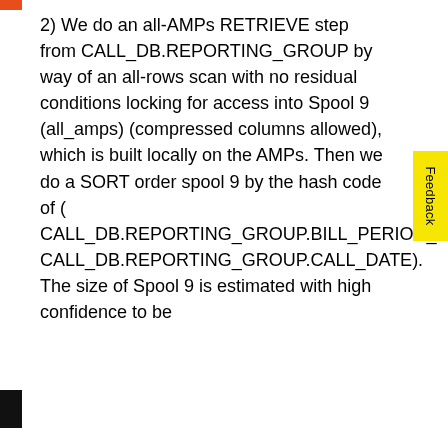2) We do an all-AMPs RETRIEVE step from CALL_DB.REPORTING_GROUP by way of an all-rows scan with no residual conditions locking for access into Spool 9 (all_amps) (compressed columns allowed), which is built locally on the AMPs. Then we do a SORT order spool 9 by the hash code of ( CALL_DB.REPORTING_GROUP.BILL_PERIOD_CD, CALL_DB.REPORTING_GROUP.CALL_DATE). The size of Spool 9 is estimated with high confidence to be